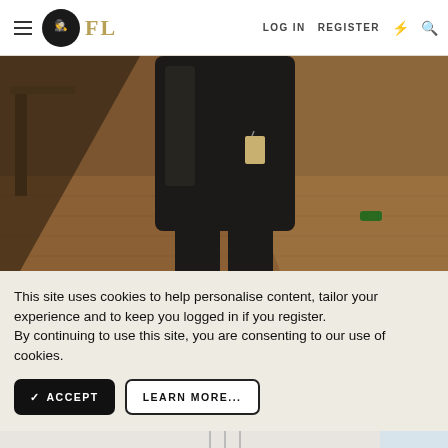FL — LOG IN   REGISTER
[Figure (photo): Photo of a person wearing a dark leather jacket with a hang tag, standing on a wooden floor with furniture visible in background]
This site uses cookies to help personalise content, tailor your experience and to keep you logged in if you register.
By continuing to use this site, you are consenting to our use of cookies.
[Figure (photo): Photo of a person wearing a red cap and light clothing, partially visible at bottom of page]